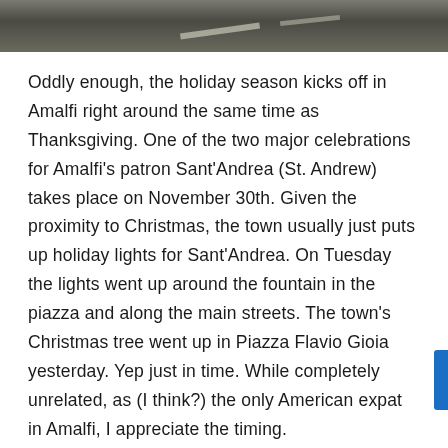[Figure (photo): Top strip showing a road or pavement surface, dark asphalt with faint road markings, cropped narrow horizontal band]
Oddly enough, the holiday season kicks off in Amalfi right around the same time as Thanksgiving. One of the two major celebrations for Amalfi's patron Sant'Andrea (St. Andrew) takes place on November 30th. Given the proximity to Christmas, the town usually just puts up holiday lights for Sant'Andrea. On Tuesday the lights went up around the fountain in the piazza and along the main streets. The town's Christmas tree went up in Piazza Flavio Gioia yesterday. Yep just in time. While completely unrelated, as (I think?) the only American expat in Amalfi, I appreciate the timing.